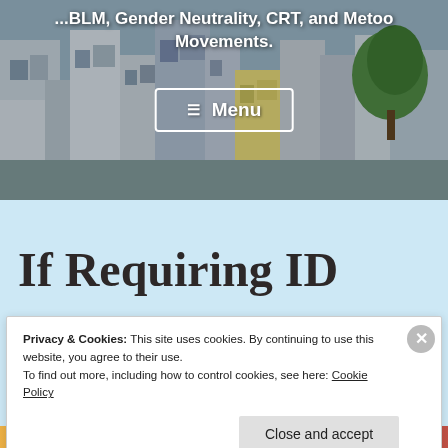[Figure (photo): Aerial/street view photo of colorful urban buildings, used as hero background image]
...BLM, Gender Neutrality, CRT, and Metoo Movements.
≡ Menu
If Requiring ID
Privacy & Cookies: This site uses cookies. By continuing to use this website, you agree to their use.
To find out more, including how to control cookies, see here: Cookie Policy
Close and accept